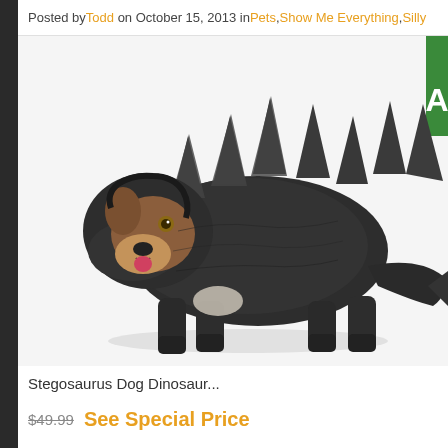Posted by Todd on October 15, 2013 in Pets, Show Me Everything, Silly
[Figure (photo): A corgi dog wearing a stegosaurus dinosaur costume, with dark scaly body suit and dinosaur back plates/spines, photographed on white background]
Stegosaurus Dog Dinosaur...
$49.99  See Special Price